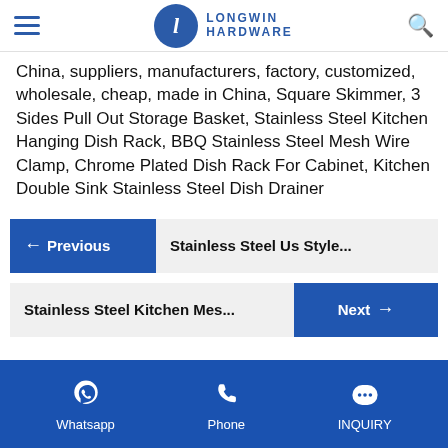Longwin Hardware
China, suppliers, manufacturers, factory, customized, wholesale, cheap, made in China, Square Skimmer, 3 Sides Pull Out Storage Basket, Stainless Steel Kitchen Hanging Dish Rack, BBQ Stainless Steel Mesh Wire Clamp, Chrome Plated Dish Rack For Cabinet, Kitchen Double Sink Stainless Steel Dish Drainer
← Previous  Stainless Steel Us Style...
Stainless Steel Kitchen Mes...  Next →
Whatsapp   Phone   INQUIRY